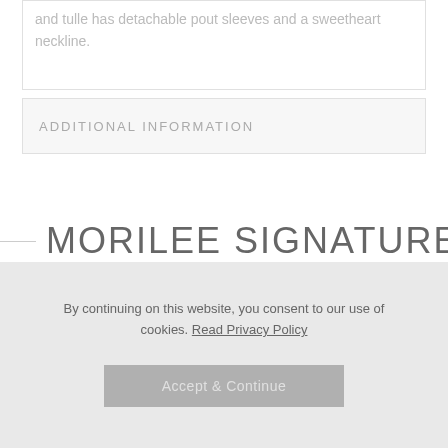and tulle has detachable pout sleeves and a sweetheart neckline.
ADDITIONAL INFORMATION
MORILEE SIGNATURE
By continuing on this website, you consent to our use of cookies. Read Privacy Policy
Accept & Continue